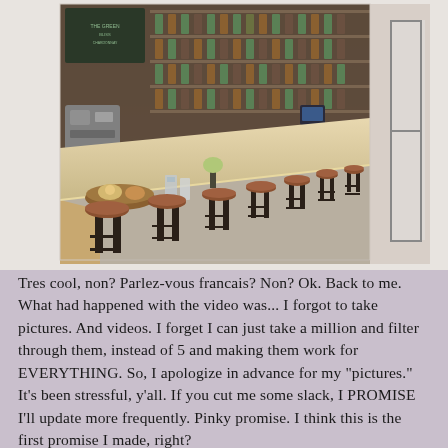[Figure (photo): Interior of a bar or restaurant showing a long wooden bar counter with bar stools upholstered in brown leather with black metal frames lined up along it. Behind the bar are shelves stocked with bottles of wine and spirits, along with a chalkboard menu. On the bar counter are some food items and drinks. The space has wooden paneling and there is a glass door entrance visible on the right.]
Tres cool, non? Parlez-vous francais? Non? Ok. Back to me. What had happened with the video was... I forgot to take pictures. And videos. I forget I can just take a million and filter through them, instead of 5 and making them work for EVERYTHING. So, I apologize in advance for my "pictures." It's been stressful, y'all. If you cut me some slack, I PROMISE I'll update more frequently. Pinky promise. I think this is the first promise I made, right?